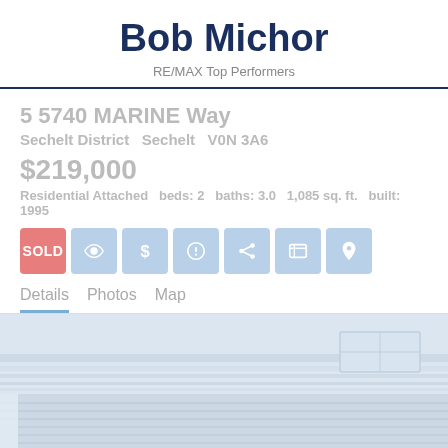Bob Michor
RE/MAX Top Performers
5 5740 MARINE Way
Sechelt District  Sechelt  V0N 3A6
$219,000
Residential Attached  beds: 2  baths: 3.0  1,085 sq. ft.  built: 1995
SOLD
Details   Photos   Map
[Figure (photo): Interior/exterior property photo showing roofline and windows, faded/watermarked appearance]